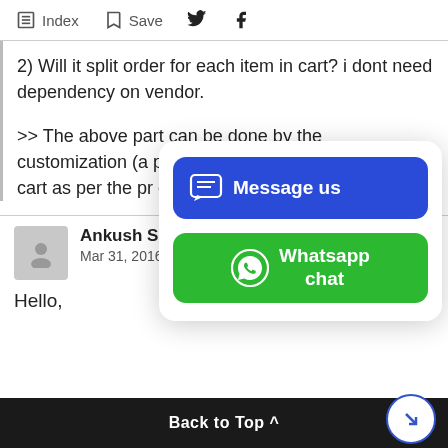Index  Save
2) Will it split order for each item in cart? i dont need dependency on vendor.
>> The above part can be done by the customization (a paid service) as this feature ( Split cart as per the pr currently.
[Figure (screenshot): Popup with two buttons: blue 'Message us' button with chat icon, and green 'Whatsapp chat' button with WhatsApp logo]
Ankush Santra
Mar 31, 2016 at 6:
Hello,
Back to Top ^